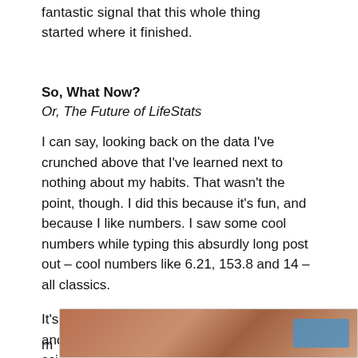fantastic signal that this whole thing started where it finished.
So, What Now?
Or, The Future of LifeStats
I can say, looking back on the data I've crunched above that I've learned next to nothing about my habits. That wasn't the point, though. I did this because it's fun, and because I like numbers. I saw some cool numbers while typing this absurdly long post out – cool numbers like 6.21, 153.8 and 14 – all classics.
It's important to remember that the numbers and calculations above do not represent real scientific data – as I
m
[Figure (photo): A photo showing a person and a screen/device, partially visible at bottom right of page]